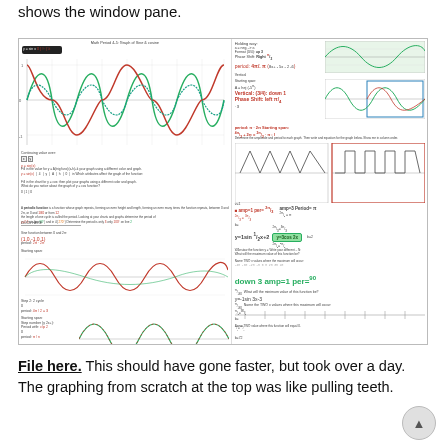shows the window pane.
[Figure (photo): A student worksheet showing graphing of sinusoidal functions. Left side shows sine/cosine wave graphs plotted on grids with red, green, and teal colored curves, along with tables of values and handwritten notes. Right side shows additional problems with handwritten work including amplitude, period, phase shift calculations, equations like y=1sin(1/2)x+2, y=3cos2x, y=-1sin3x-3, with values for amplitude=1, period=2π, amp=3, period=π, down 3, amp=1, per=90.]
File here. This should have gone faster, but took over a day. The graphing from scratch at the top was like pulling teeth.